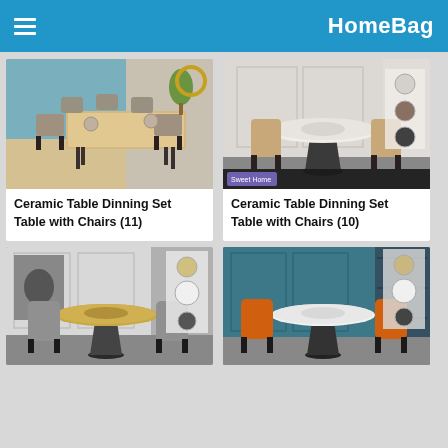HomeBag
[Figure (photo): Rectangular ceramic dining table with chairs in a modern room setting]
Ceramic Table Dinning Set Table with Chairs (11)
[Figure (photo): Round ceramic dining table with beige chairs on dark pedestal base, with material swatches on right]
Ceramic Table Dinning Set Table with Chairs (10)
[Figure (photo): Round ceramic dining table with patterned chairs on dark conical base]
[Figure (photo): Round white ceramic dining table with orange chairs in teal room]